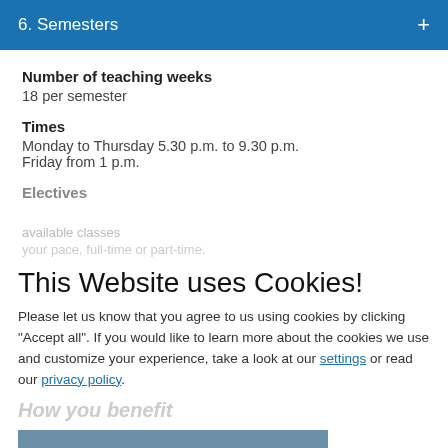6. Semesters
Number of teaching weeks
18 per semester
Times
Monday to Thursday 5.30 p.m. to 9.30 p.m.
Friday from 1 p.m.
Electives
This Website uses Cookies!
Please let us know that you agree to us using cookies by clicking "Accept all". If you would like to learn more about the cookies we use and customize your experience, take a look at our settings or read our privacy policy.
How you benefit
Yes, accept all Cookies